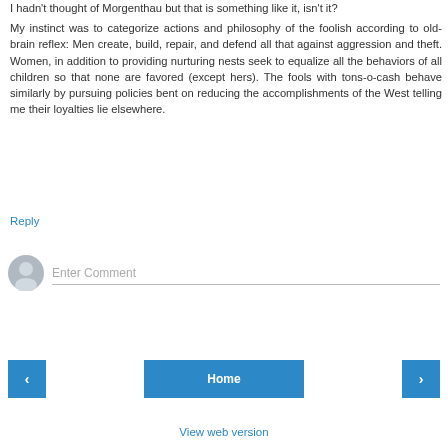I hadn't thought of Morgenthau but that is something like it, isn't it? My instinct was to categorize actions and philosophy of the foolish according to old-brain reflex: Men create, build, repair, and defend all that against aggression and theft. Women, in addition to providing nurturing nests seek to equalize all the behaviors of all children so that none are favored (except hers). The fools with tons-o-cash behave similarly by pursuing policies bent on reducing the accomplishments of the West telling me their loyalties lie elsewhere.
Reply
Enter Comment
Home
View web version